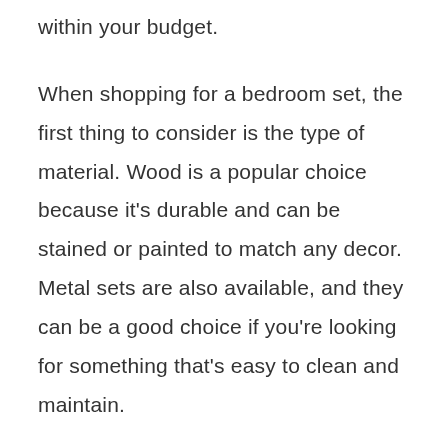within your budget.
When shopping for a bedroom set, the first thing to consider is the type of material. Wood is a popular choice because it's durable and can be stained or painted to match any decor. Metal sets are also available, and they can be a good choice if you're looking for something that's easy to clean and maintain.
Once you've decided on the material, you need to decide on the style. Bedroom sets come in a variety of styles, from traditional